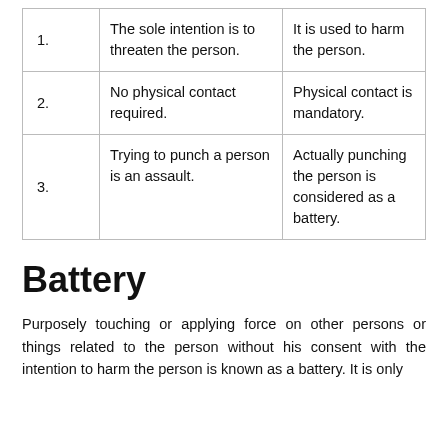|  | Assault | Battery |
| --- | --- | --- |
| 1. | The sole intention is to threaten the person. | It is used to harm the person. |
| 2. | No physical contact required. | Physical contact is mandatory. |
| 3. | Trying to punch a person is an assault. | Actually punching the person is considered as a battery. |
Battery
Purposely touching or applying force on other persons or things related to the person without his consent with the intention to harm the person is known as a battery. It is only